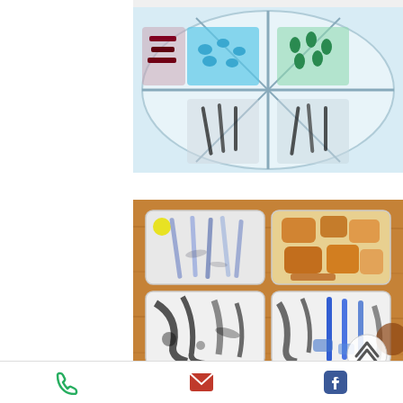[Figure (photo): Top view of a segmented tray/palette containing various colored items including blue and green shapes, possibly candies or craft supplies.]
[Figure (photo): Four clear plastic trays arranged in a 2x2 grid on a wooden surface. Top-left tray contains pens/markers, top-right contains amber/brown chunks, bottom-left and bottom-right show black ink-stained surfaces with markers or pens.]
We had a lovely week together!  Pat made eggs benedict for Gruper and
Phone | Email | Facebook icons